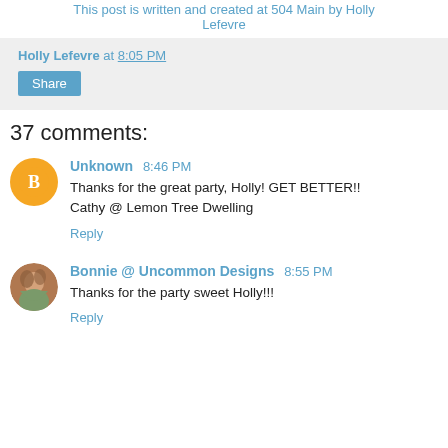This post is written and created at 504 Main by Holly Lefevre
Holly Lefevre at 8:05 PM
Share
37 comments:
Unknown 8:46 PM
Thanks for the great party, Holly! GET BETTER!! Cathy @ Lemon Tree Dwelling
Reply
Bonnie @ Uncommon Designs 8:55 PM
Thanks for the party sweet Holly!!!
Reply